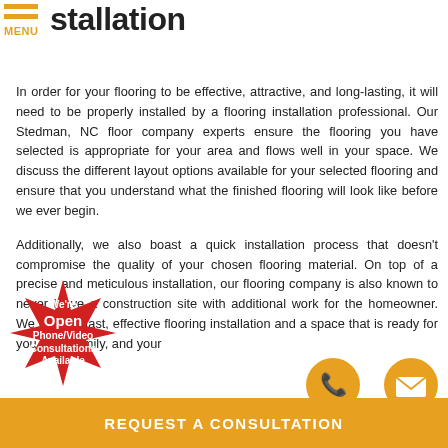MENU
stallation
In order for your flooring to be effective, attractive, and long-lasting, it will need to be properly installed by a flooring installation professional. Our Stedman, NC floor company experts ensure the flooring you have selected is appropriate for your area and flows well in your space. We discuss the different layout options available for your selected flooring and ensure that you understand what the finished flooring will look like before we ever begin.
Additionally, we also boast a quick installation process that doesn't compromise the quality of your chosen flooring material. On top of a precise and meticulous installation, our flooring company is also known to never leave a construction site with additional work for the homeowner. We provide fast, effective flooring installation and a space that is ready for you, your family, and your
[Figure (infographic): Red starburst badge with text 'We're Open Phone/Video Consultations Available']
[Figure (infographic): Orange phone icon circle]
[Figure (infographic): Orange mail/envelope icon circle]
REQUEST A CONSULTATION